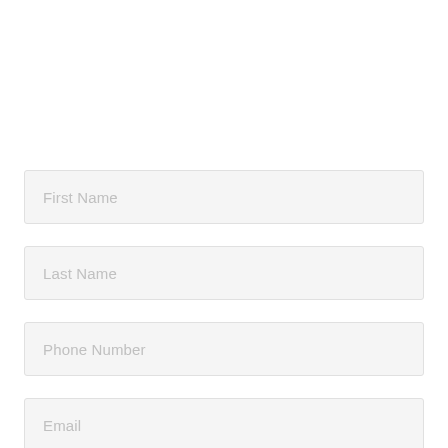First Name
Last Name
Phone Number
Email